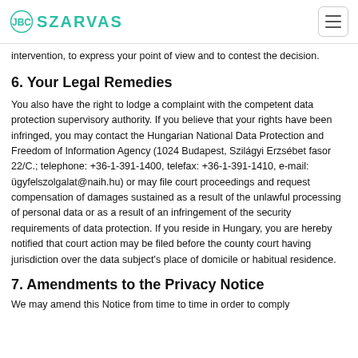SZARVAS
intervention, to express your point of view and to contest the decision.
6. Your Legal Remedies
You also have the right to lodge a complaint with the competent data protection supervisory authority. If you believe that your rights have been infringed, you may contact the Hungarian National Data Protection and Freedom of Information Agency (1024 Budapest, Szilágyi Erzsébet fasor 22/C.; telephone: +36-1-391-1400, telefax: +36-1-391-1410, e-mail: ügyfelszolgalat@naih.hu) or may file court proceedings and request compensation of damages sustained as a result of the unlawful processing of personal data or as a result of an infringement of the security requirements of data protection. If you reside in Hungary, you are hereby notified that court action may be filed before the county court having jurisdiction over the data subject's place of domicile or habitual residence.
7. Amendments to the Privacy Notice
We may amend this Notice from time to time in order to comply